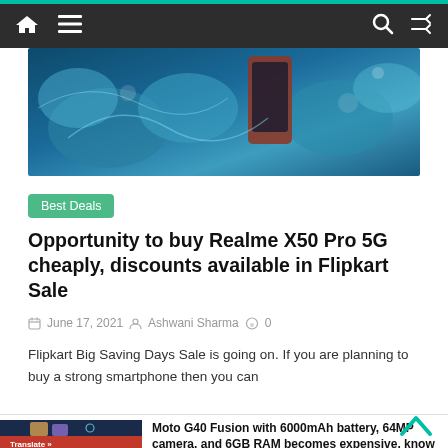Navigation bar with home, menu, search, and shuffle icons
[Figure (photo): Realme X50 Pro 5G smartphone displayed with blue crystalline background]
Best Deals
Opportunity to buy Realme X50 Pro 5G cheaply, discounts available in Flipkart Sale
June 17, 2021  Ashwani Sharma  0
Flipkart Big Saving Days Sale is going on. If you are planning to buy a strong smartphone then you can
[Figure (photo): Moto G40 Fusion smartphone thumbnail image with Translate button overlay]
Moto G40 Fusion with 6000mAh battery, 64MP camera, and 6GB RAM becomes expensive, know the new price
June 4, 2021  1